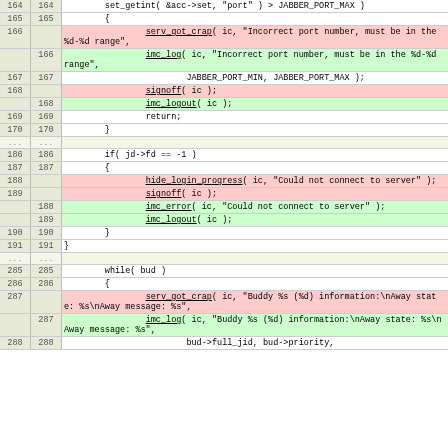| old_ln | new_ln | code |
| --- | --- | --- |
| 164 | 164 | set_getint( &acc->set, "port" ) > JABBER_PORT_MAX ) |
| 165 | 165 |         { |
| 166 |  |                 serv_got_crap( ic, "Incorrect port number, must be in the %d-%d range", |
|  | 166 |                 imc_log( ic, "Incorrect port number, must be in the %d-%d range", |
| 167 | 167 |                         JABBER_PORT_MIN, JABBER_PORT_MAX ); |
| 168 |  |                 signoff( ic ); |
|  | 168 |                 imc_logout( ic ); |
| 169 | 169 |                 return; |
| 170 | 170 |         } |
| ... | ... |  |
| 186 | 186 |         if( jd->fd == -1 ) |
| 187 | 187 |         { |
| 188 |  |                 hide_login_progress( ic, "Could not connect to server" ); |
| 189 |  |                 signoff( ic ); |
|  | 188 |                 imc_error( ic, "Could not connect to server" ); |
|  | 189 |                 imc_logout( ic ); |
| 190 | 190 |         } |
| 191 | 191 | } |
| ... | ... |  |
| 285 | 285 |         while( bud ) |
| 286 | 286 |         { |
| 287 |  |                 serv_got_crap( ic, "Buddy %s (%d) information:\nAway state: %s\nAway message: %s", |
|  | 287 |                 imc_log( ic, "Buddy %s (%d) information:\nAway state: %s\nAway message: %s", |
| 288 | 288 |                         bud->full_jid, bud->priority, |